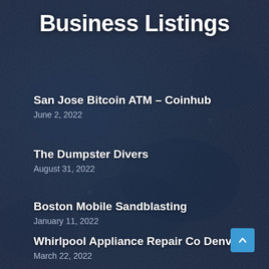Business Listings
San Jose Bitcoin ATM – Coinhub
June 2, 2022
The Dumpster Divers
August 31, 2022
Boston Mobile Sandblasting
January 11, 2022
Whirlpool Appliance Repair Co Denver
March 22, 2022